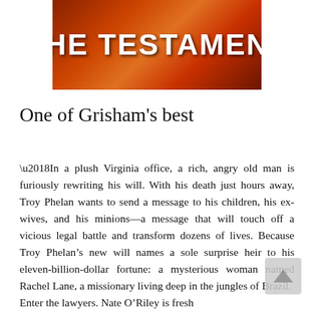[Figure (photo): Book cover of 'The Testament' showing the title text in large white bold letters on a dark reddish-orange background]
One of Grisham's best
‘In a plush Virginia office, a rich, angry old man is furiously rewriting his will. With his death just hours away, Troy Phelan wants to send a message to his children, his ex-wives, and his minions—a message that will touch off a vicious legal battle and transform dozens of lives. Because Troy Phelan’s new will names a sole surprise heir to his eleven-billion-dollar fortune: a mysterious woman named Rachel Lane, a missionary living deep in the jungles of Brazil. Enter the lawyers. Nate O’Riley is fresh